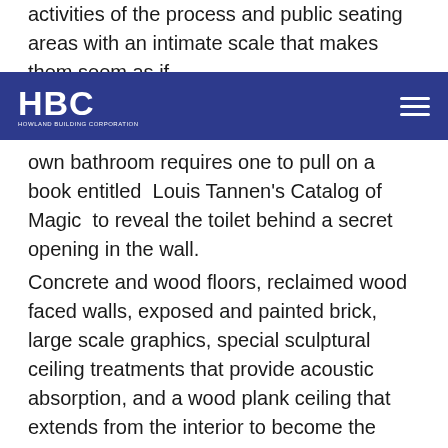activities of the process and public seating areas with an intimate scale that makes them seem as if
[Figure (logo): HBC Howland Building Corporation logo — white text on dark blue navigation bar with hamburger menu icon on the right]
own bathroom requires one to pull on a book entitled Louis Tannen's Catalog of Magic to reveal the toilet behind a secret opening in the wall.
Concrete and wood floors, reclaimed wood faced walls, exposed and painted brick, large scale graphics, special sculptural ceiling treatments that provide acoustic absorption, and a wood plank ceiling that extends from the interior to become the finish for the exterior roof are just a few of the special design features of the space. Recessed lights in hard lid areas and downlights in exposed ceilings are balanced by large windows and skylights cut through the roof to allow in natural light. A conference room floats above the seats in